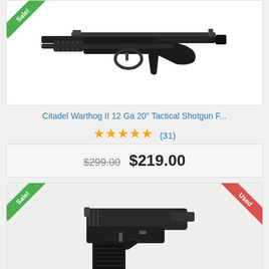[Figure (photo): Citadel Warthog II 12 Ga 20 inch Tactical Shotgun with Sale ribbon in top-left corner]
Citadel Warthog II 12 Ga 20" Tactical Shotgun F...
★★★★★ (31)
$299.00  $219.00
[Figure (photo): Beretta M1951 9mm 8 rd Model 1951 pistol with Sale ribbon in top-left and Used ribbon in top-right corner]
Beretta M1951 9mm 8 rd Model 1951
★★★★★ (17)